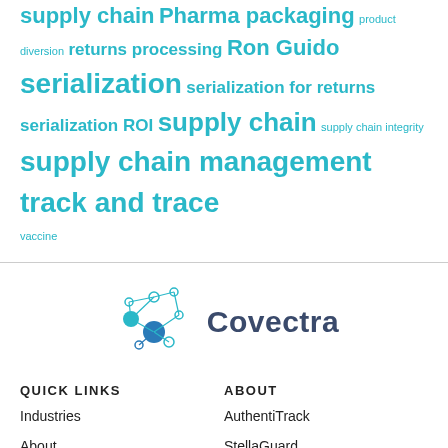supply chain Pharma packaging product diversion returns processing Ron Guido serialization serialization for returns serialization ROI supply chain supply chain integrity supply chain management track and trace vaccine
[Figure (logo): Covectra company logo with network/graph icon in teal and blue, and the word Covectra in dark navy text]
QUICK LINKS
ABOUT
Industries
AuthentiTrack
About
StellaGuard
Media
ControlTrack